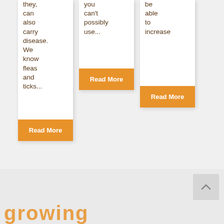they, can also carry disease. We know fleas and ticks...
Read More
you can't possibly use...
Read More
be able to increase
Read More
growing